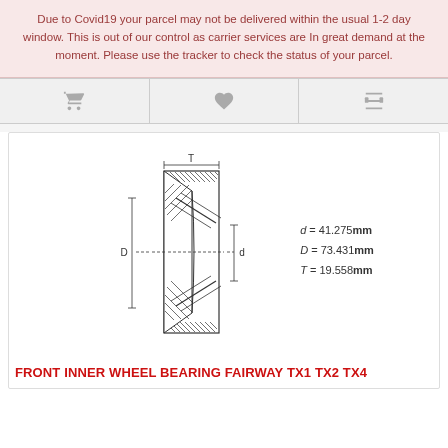Due to Covid19 your parcel may not be delivered within the usual 1-2 day window. This is out of our control as carrier services are In great demand at the moment. Please use the tracker to check the status of your parcel.
[Figure (engineering-diagram): Cross-section diagram of a tapered roller bearing showing dimensions D (outer diameter), d (inner diameter), and T (width/height). The bearing shows the typical tapered roller bearing profile with hatching.]
d = 41.275mm
D = 73.431mm
T = 19.558mm
FRONT INNER WHEEL BEARING FAIRWAY TX1 TX2 TX4